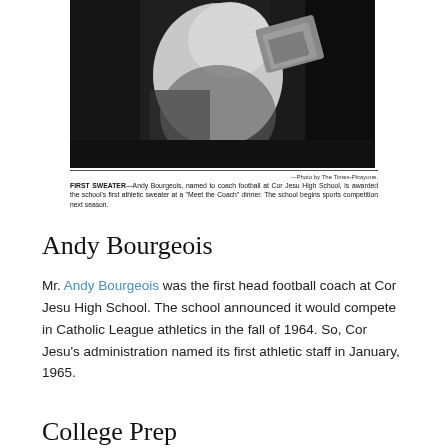[Figure (photo): Black and white newspaper photograph showing Andy Bourgeois being awarded an athletic sweater at a Meet the Coach dinner at Cor Jesu High School.]
—Photo by The Times-Picayune.
FIRST SWEATER—Andy Bourgeois, named to coach football at Cor Jesu High School, is awarded the school's first athletic sweater at a "Meet the Coach" dinner. The school begins sports competition next season.
Andy Bourgeois
Mr. Andy Bourgeois was the first head football coach at Cor Jesu High School. The school announced it would compete in Catholic League athletics in the fall of 1964. So, Cor Jesu's administration named its first athletic staff in January, 1965.
College Prep